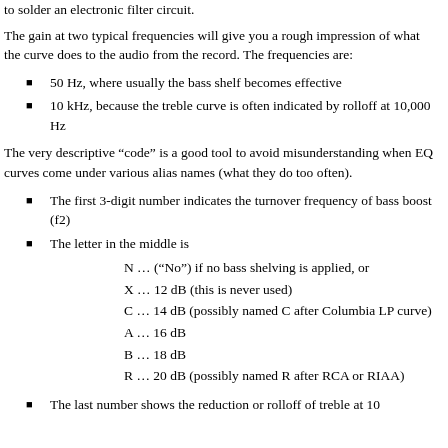to solder an electronic filter circuit.
The gain at two typical frequencies will give you a rough impression of what the curve does to the audio from the record. The frequencies are:
50 Hz, where usually the bass shelf becomes effective
10 kHz, because the treble curve is often indicated by rolloff at 10,000 Hz
The very descriptive “code” is a good tool to avoid misunderstanding when EQ curves come under various alias names (what they do too often).
The first 3-digit number indicates the turnover frequency of bass boost (f2)
The letter in the middle is
N … (“No”) if no bass shelving is applied, or
X … 12 dB (this is never used)
C … 14 dB (possibly named C after Columbia LP curve)
A … 16 dB
B … 18 dB
R … 20 dB (possibly named R after RCA or RIAA)
The last number shows the reduction or rolloff of treble at 10